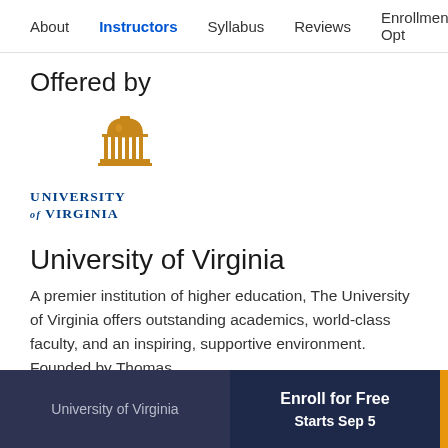About  Instructors  Syllabus  Reviews  Enrollment Opt
Offered by
[Figure (logo): University of Virginia logo with gold dome and blue text]
University of Virginia
A premier institution of higher education, The University of Virginia offers outstanding academics, world-class faculty, and an inspiring, supportive environment. Founded by Thomas
University of Virginia   Enroll for Free   Starts Sep 5